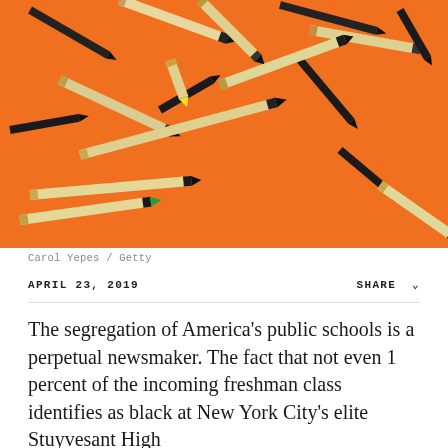[Figure (photo): Overhead view of scattered colored and black pencils on an orange background]
Carol Yepes / Getty
APRIL 23, 2019
SHARE
The segregation of America's public schools is a perpetual newsmaker. The fact that not even 1 percent of the incoming freshman class identifies as black at New York City's elite Stuyvesant High